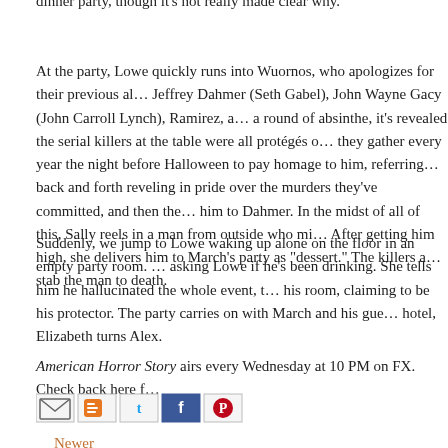dinner party, though it's not really made clear why.
At the party, Lowe quickly runs into Wuornos, who apologizes for their previous al… Jeffrey Dahmer (Seth Gabel), John Wayne Gacy (John Carroll Lynch), Ramirez, a… a round of absinthe, it's revealed the serial killers at the table were all protégés o… they gather every year the night before Halloween to pay homage to him, referring… back and forth reveling in pride over the murders they've committed, and then the… him to Dahmer. In the midst of all of this, Sally reels in a man from outside who mi… After getting him high, she delivers him to March's party as "dessert." The killers a… stab the man to death.
Suddenly, we jump to Lowe waking up alone on the floor in an empty party room. … asking Lowe if he's been drinking. She tells him he hallucinated the whole event, t… his room, claiming to be his protector. The party carries on with March and his gue… hotel, Elizabeth turns Alex.
American Horror Story airs every Wednesday at 10 PM on FX. Check back here f…
[Figure (infographic): Social sharing icons row: email, blogger, twitter, facebook, pinterest]
Newer Post
Home